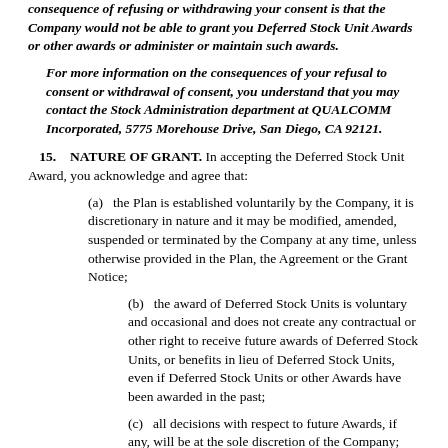consequence of refusing or withdrawing your consent is that the Company would not be able to grant you Deferred Stock Unit Awards or other awards or administer or maintain such awards.
For more information on the consequences of your refusal to consent or withdrawal of consent, you understand that you may contact the Stock Administration department at QUALCOMM Incorporated, 5775 Morehouse Drive, San Diego, CA 92121.
15. NATURE OF GRANT. In accepting the Deferred Stock Unit Award, you acknowledge and agree that:
(a) the Plan is established voluntarily by the Company, it is discretionary in nature and it may be modified, amended, suspended or terminated by the Company at any time, unless otherwise provided in the Plan, the Agreement or the Grant Notice;
(b) the award of Deferred Stock Units is voluntary and occasional and does not create any contractual or other right to receive future awards of Deferred Stock Units, or benefits in lieu of Deferred Stock Units, even if Deferred Stock Units or other Awards have been awarded in the past;
(c) all decisions with respect to future Awards, if any, will be at the sole discretion of the Company;